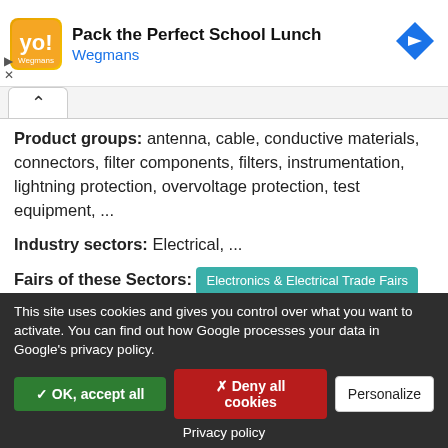[Figure (screenshot): Advertisement banner: orange/yellow logo icon on left, title 'Pack the Perfect School Lunch', subtitle 'Wegmans' in blue, blue diamond arrow icon on right, with play and close controls on far left.]
Product groups: antenna, cable, conductive materials, connectors, filter components, filters, instrumentation, lightning protection, overvoltage protection, test equipment, ...
Industry sectors: Electrical, ...
Fairs of these Sectors: Electronics & Electrical Trade Fairs
Disclaimer: No responsibility is taken for the correctness of this information. Errors and alterations
This site uses cookies and gives you control over what you want to activate. You can find out how Google processes your data in Google's privacy policy.
✓ OK, accept all   ✗ Deny all cookies   Personalize
Privacy policy